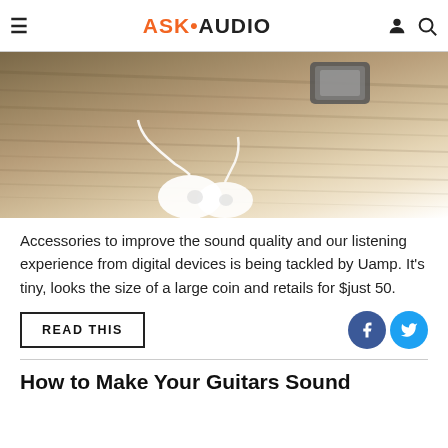ASK•AUDIO
[Figure (photo): Earbuds/earphones with cable resting on a wooden surface, with a small digital device in the background]
Accessories to improve the sound quality and our listening experience from digital devices is being tackled by Uamp. It's tiny, looks the size of a large coin and retails for $just 50.
READ THIS
How to Make Your Guitars Sound